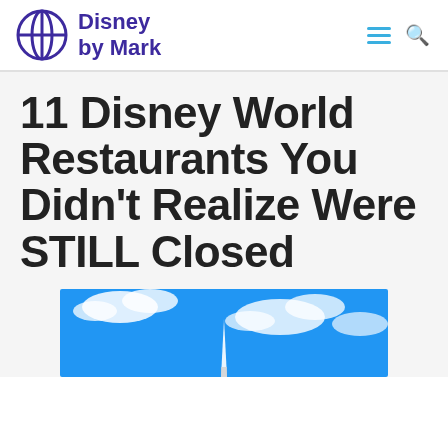Disney by Mark
11 Disney World Restaurants You Didn't Realize Were STILL Closed
[Figure (photo): Blue sky with clouds, top of a Disney World structure visible at bottom center]